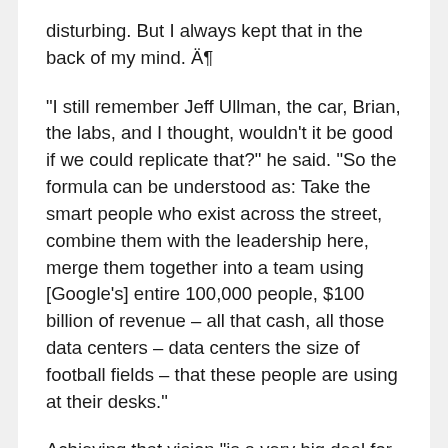disturbing. But I always kept that in the back of my mind. Ä¶
“I still remember Jeff Ullman, the car, Brian, the labs, and I thought, wouldn’t it be good if we could replicate that?” he said. “So the formula can be understood as: Take the smart people who exist across the street, combine them with the leadership here, merge them together into a team using [Google’s] entire 100,000 people, $100 billion of revenue – all that cash, all those data centers – data centers the size of football fields – that these people are using at their desks.”
Achieving that vision “is a very big deal for me personally and for the nation,” Schmidt said.